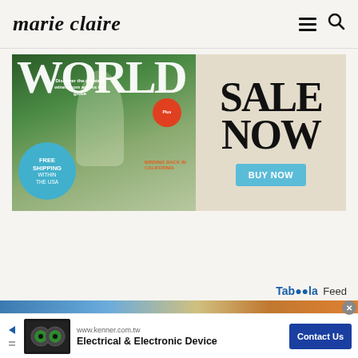marie claire
[Figure (advertisement): Magazine advertisement for a wine world publication showing magazine cover with wine glass, 'WORLD' text, 'FREE SHIPPING WITHIN THE USA' badge, 'SALE NOW' text and 'BUY NOW' button]
Taboola Feed
[Figure (photo): Taboola feed image strip showing partial photos]
[Figure (advertisement): Ad for www.kenner.com.tw - Electrical & Electronic Device with Contact Us button and product image showing tape rolls]